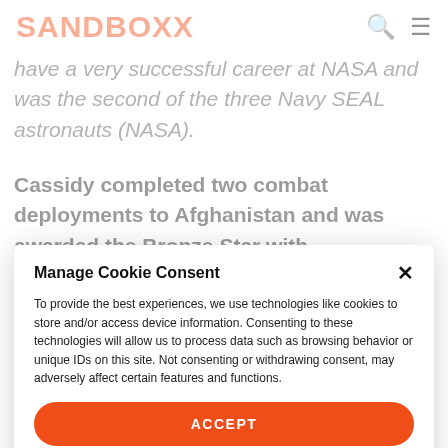SANDBOXX
have a very successful career at NASA and was the second of the three Navy SEAL astronauts (NASA).
Cassidy completed two combat deployments to Afghanistan and was awarded the Bronze Star with
Manage Cookie Consent
To provide the best experiences, we use technologies like cookies to store and/or access device information. Consenting to these technologies will allow us to process data such as browsing behavior or unique IDs on this site. Not consenting or withdrawing consent, may adversely affect certain features and functions.
ACCEPT
Opt-out preferences   Privacy Policy